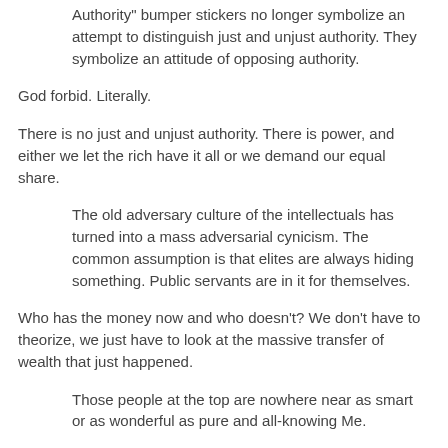Authority" bumper stickers no longer symbolize an attempt to distinguish just and unjust authority. They symbolize an attitude of opposing authority.
God forbid. Literally.
There is no just and unjust authority. There is power, and either we let the rich have it all or we demand our equal share.
The old adversary culture of the intellectuals has turned into a mass adversarial cynicism. The common assumption is that elites are always hiding something. Public servants are in it for themselves.
Who has the money now and who doesn't? We don't have to theorize, we just have to look at the massive transfer of wealth that just happened.
Those people at the top are nowhere near as smart or as wonderful as pure and all-knowing Me.